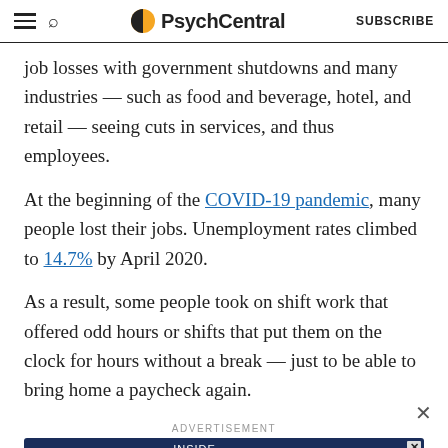PsychCentral — SUBSCRIBE
job losses with government shutdowns and many industries — such as food and beverage, hotel, and retail — seeing cuts in services, and thus employees.
At the beginning of the COVID-19 pandemic, many people lost their jobs. Unemployment rates climbed to 14.7% by April 2020.
As a result, some people took on shift work that offered odd hours or shifts that put them on the clock for hours without a break — just to be able to bring home a paycheck again.
[Figure (screenshot): PsychCentral advertisement banner for 'Inside Mental Health Podcast' with a dark navy background, a yellow/gold circular graphic, PsychCentral logo on left, and a 'Learn More' button on the right.]